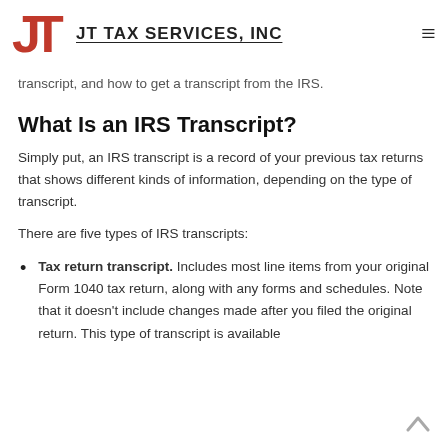JT TAX SERVICES, INC
transcript, and how to get a transcript from the IRS.
What Is an IRS Transcript?
Simply put, an IRS transcript is a record of your previous tax returns that shows different kinds of information, depending on the type of transcript.
There are five types of IRS transcripts:
Tax return transcript. Includes most line items from your original Form 1040 tax return, along with any forms and schedules. Note that it doesn't include changes made after you filed the original return. This type of transcript is available